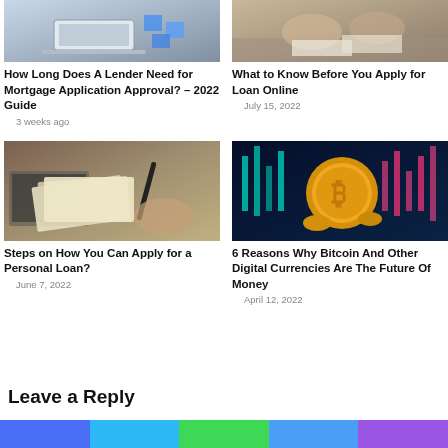[Figure (photo): Person at desk with laptop and papers, blue sticky notes visible]
How Long Does A Lender Need for Mortgage Application Approval? – 2022 Guide
3 weeks ago
[Figure (photo): Hands exchanging or reviewing documents at a desk]
What to Know Before You Apply for Loan Online
July 15, 2022
[Figure (photo): Hands holding cash money with documents and laptop on desk]
Steps on How You Can Apply for a Personal Loan?
June 7, 2022
[Figure (photo): Bitcoin gold coin with candlestick chart background, cryptocurrency concept]
6 Reasons Why Bitcoin And Other Digital Currencies Are The Future Of Money
April 12, 2022
Leave a Reply